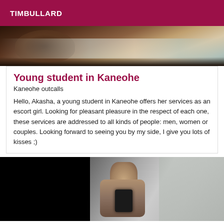TIMBULLARD
[Figure (photo): Top cropped photo showing hair and partial torso, warm/dark tones]
Young student in Kaneohe
Kaneohe outcalls
Hello, Akasha, a young student in Kaneohe offers her services as an escort girl. Looking for pleasant pleasure in the respect of each one, these services are addressed to all kinds of people: men, women or couples. Looking forward to seeing you by my side, I give you lots of kisses ;)
[Figure (photo): Bottom photo showing a person taking a mirror selfie, shirtless, holding a phone, dark background with door/wall visible]